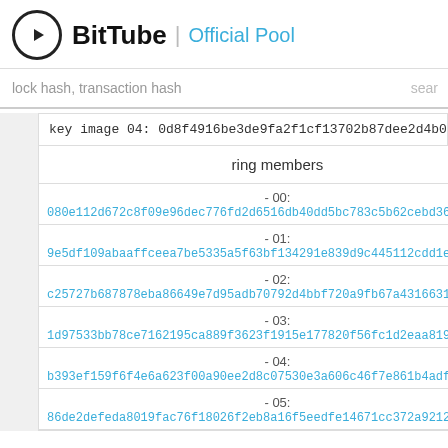BitTube | Official Pool
lock hash, transaction hash   sear
key image 04: 0d8f4916be3de9fa2f1cf13702b87dee2d4b01ddd16d06f9bda4b...
| ring members |
| --- |
| - 00: | 080e112d672c8f09e96dec776fd2d6516db40dd5bc783c5b62cebd36df32f05... |
| - 01: | 9e5df109abaaffceea7be5335a5f63bf134291e839d9c445112cdd1e9494daa9... |
| - 02: | c25727b687878eba86649e7d95adb70792d4bbf720a9fb67a4316631d6c8517... |
| - 03: | 1d97533bb78ce7162195ca889f3623f1915e177820f56fc1d2eaa8196709667... |
| - 04: | b393ef159f6f4e6a623f00a90ee2d8c07530e3a606c46f7e861b4adff57a5254... |
| - 05: | 86de2defeda8019fac76f18026f2eb8a16f5eedfe14671cc372a92127a0ea25d... |